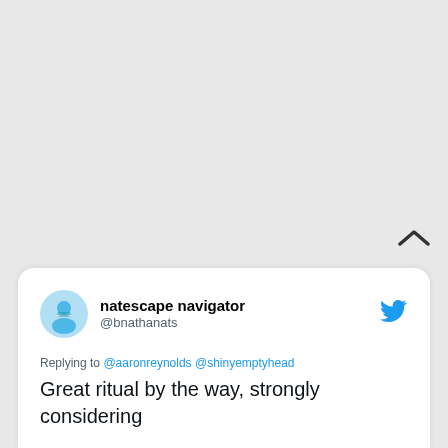[Figure (screenshot): A chevron/caret up arrow icon in dark gray, positioned in the upper right area of the gray background]
[Figure (screenshot): Twitter/social media card with user avatar, username 'natescape navigator', handle '@bnathanats', Twitter bird logo, reply context 'Replying to @aaronreynolds @shinyemptyhead', and tweet text 'Great ritual by the way, strongly considering']
Replying to @aaronreynolds @shinyemptyhead
Great ritual by the way, strongly considering